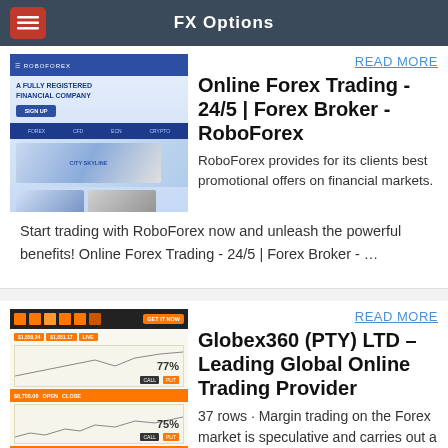FX Options
READ MORE
Online Forex Trading - 24/5 | Forex Broker - RoboForex
RoboForex provides for its clients best promotional offers on financial markets.
Start trading with RoboForex now and unleash the powerful benefits! Online Forex Trading - 24/5 | Forex Broker - …
READ MORE
Globex360 (PTY) LTD – Leading Global Online Trading Provider
37 rows · Margin trading on the Forex market is speculative and carries out a high level of risk, …